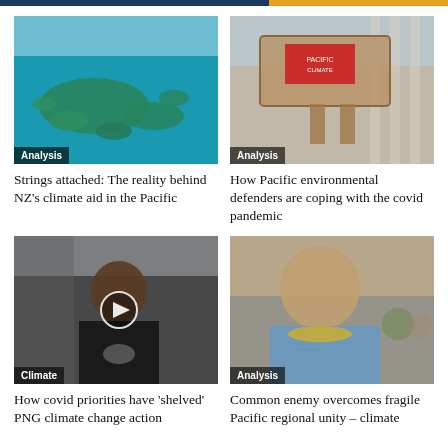[Figure (photo): Aerial view of Pacific island group (Palau) with turquoise water, labeled Analysis]
Strings attached: The reality behind NZ's climate aid in the Pacific
[Figure (photo): Person carrying woven basket/mat at protest with red banner, labeled Analysis]
How Pacific environmental defenders are coping with the covid pandemic
[Figure (photo): Woman in black top with play button overlay, labeled Climate]
How covid priorities have 'shelved' PNG climate change action
[Figure (photo): Older man in blue floral shirt with lei at conference, labeled Analysis]
Common enemy overcomes fragile Pacific regional unity – climate